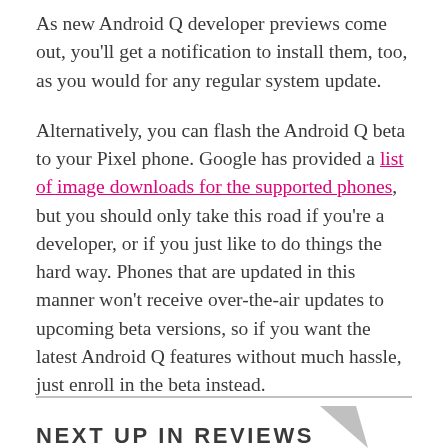As new Android Q developer previews come out, you'll get a notification to install them, too, as you would for any regular system update.
Alternatively, you can flash the Android Q beta to your Pixel phone. Google has provided a list of image downloads for the supported phones, but you should only take this road if you're a developer, or if you just like to do things the hard way. Phones that are updated in this manner won't receive over-the-air updates to upcoming beta versions, so if you want the latest Android Q features without much hassle, just enroll in the beta instead.
NEXT UP IN REVIEWS